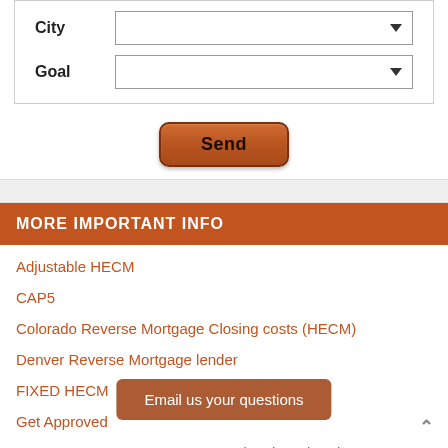[Figure (screenshot): Form with City and Goal dropdown selectors and a Send button]
MORE IMPORTANT INFO
Adjustable HECM
CAP5
Colorado Reverse Mortgage Closing costs (HECM)
Denver Reverse Mortgage lender
FIXED HECM
Get Approved
HECM Reverse Mortgage Counselors in Colorado
How To Qualify for a HECM Reverse Mortgage
Important Colorado Senior Citizen Services
Important Reverse M…
Email us your questions